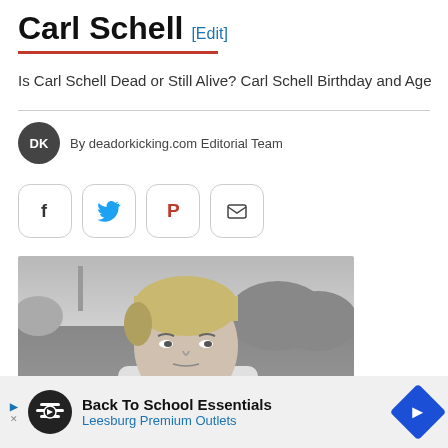Carl Schell [Edit]
Is Carl Schell Dead or Still Alive? Carl Schell Birthday and Age
By deadorkicking.com Editorial Team
[Figure (photo): Black and white portrait photo of Carl Schell, a young blond man looking at the camera, with water and trees in the background]
How Old Is Carl Schell? Carl Schell Birthday
Carl S... s old now.
Back To School Essentials Leesburg Premium Outlets